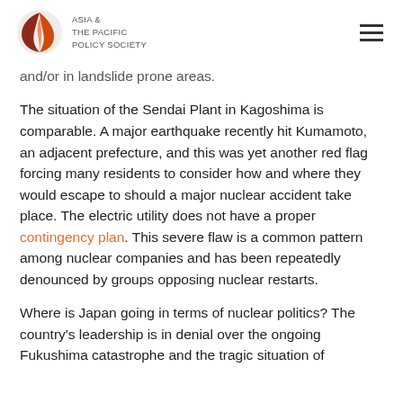ASIA & THE PACIFIC POLICY SOCIETY
and/or in landslide prone areas.
The situation of the Sendai Plant in Kagoshima is comparable. A major earthquake recently hit Kumamoto, an adjacent prefecture, and this was yet another red flag forcing many residents to consider how and where they would escape to should a major nuclear accident take place. The electric utility does not have a proper contingency plan. This severe flaw is a common pattern among nuclear companies and has been repeatedly denounced by groups opposing nuclear restarts.
Where is Japan going in terms of nuclear politics? The country's leadership is in denial over the ongoing Fukushima catastrophe and the tragic situation of